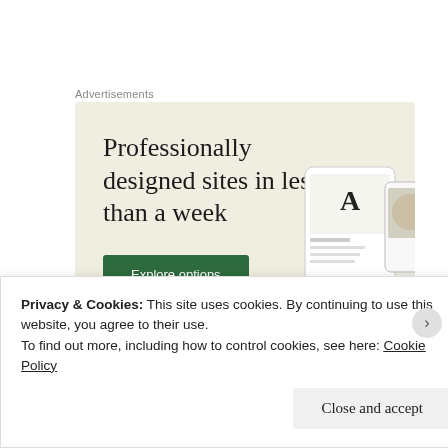Advertisements
[Figure (illustration): Advertisement banner with beige background showing text 'Professionally designed sites in less than a week' with a green 'Explore options' button and mockup images of websites on the right side.]
While I use design do not to
Privacy & Cookies: This site uses cookies. By continuing to use this website, you agree to their use.
To find out more, including how to control cookies, see here: Cookie Policy
Close and accept